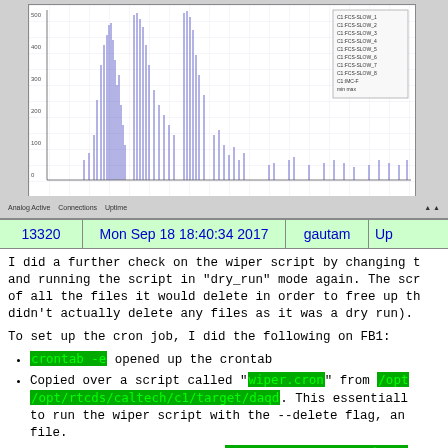[Figure (continuous-plot): Time-series line/bar chart showing spike data, blue bars on white grid background with gray border, legend in upper right corner, x-axis time axis, y-axis amplitude]
| 13320 | Mon Sep 18 18:40:34 2017 | gautam | Up... |
| --- | --- | --- | --- |
I did a further check on the wiper script by changing t... and running the script in "dry_run" mode again. The scr... of all the files it would delete in order to free up th... didn't actually delete any files as it was a dry run).
To set up the cron job, I did the following on FB1:
crontab -e opened up the crontab
Copied over a script called "wiper.cron" from /opt... /opt/rtcds/caltech/c1/target/daqd. This essentiall... to run the wiper script with the --delete flag, an... file.
Added the following line: 33 3 * * * /opt/rtcds/ca... the cron job should be executed at 3:33AM everyday
The cron daemon seems to be running - sudo systemc...